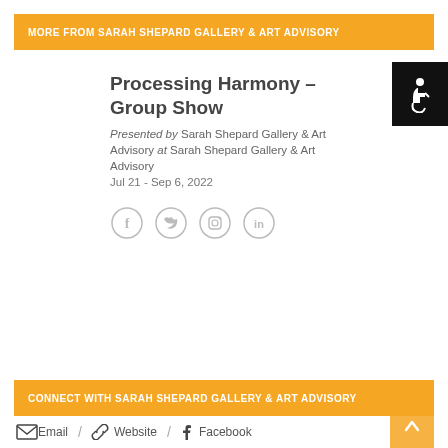MORE FROM SARAH SHEPARD GALLERY & ART ADVISORY
Processing Harmony – Group Show
Presented by Sarah Shepard Gallery & Art Advisory at Sarah Shepard Gallery & Art Advisory
Jul 21 - Sep 6, 2022
[Figure (other): Social media icons: Facebook, Twitter, Instagram, LinkedIn in grey circles]
CONNECT WITH SARAH SHEPARD GALLERY & ART ADVISORY
Email / Website / Facebook